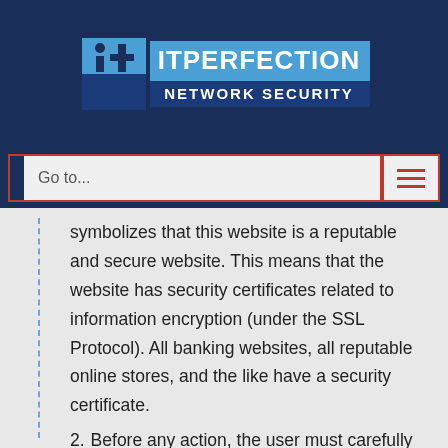[Figure (logo): IT Perfection Network Security logo — blue background with 'it' icon, blue banner reading ITPERFECTION and dark blue banner reading NETWORK SECURITY]
Go to...
symbolizes that this website is a reputable and secure website. This means that the website has security certificates related to information encryption (under the SSL Protocol). All banking websites, all reputable online stores, and the like have a security certificate.
2. Before any action, the user must carefully check the website URL. It is not possible for two different websites to have the same URL. Always The URL of a fake website is slightly